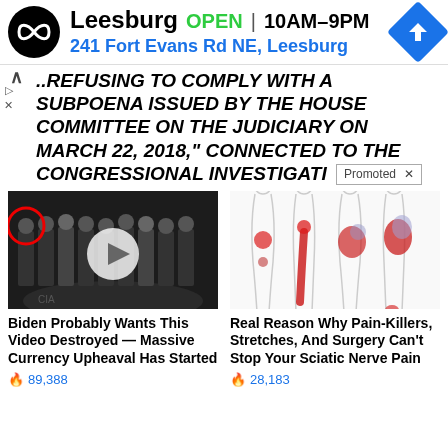[Figure (screenshot): Store ad banner showing Leesburg location with logo, OPEN status, hours 10AM-9PM, address 241 Fort Evans Rd NE Leesburg, and navigation icon]
REFUSING TO COMPLY WITH A SUBPOENA ISSUED BY THE HOUSE COMMITTEE ON THE JUDICIARY ON MARCH 22, 2018," CONNECTED TO THE CONGRESSIONAL INVESTIGATI
Promoted ×
[Figure (photo): Video thumbnail showing a group of people in suits at CIA headquarters with a red circle highlight on one figure]
Biden Probably Wants This Video Destroyed — Massive Currency Upheaval Has Started
🔥 89,388
[Figure (illustration): Medical illustration showing body diagrams with red highlighted areas indicating sciatic nerve pain locations]
Real Reason Why Pain-Killers, Stretches, And Surgery Can't Stop Your Sciatic Nerve Pain
🔥 28,183